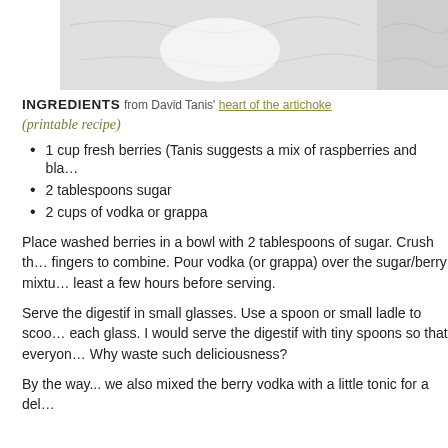[Figure (photo): Two photos side by side showing a marble surface with what appears to be a white bowl or dish. Left photo is wider, right photo is narrower, both showing similar marble/stone surface.]
INGREDIENTS from David Tanis' heart of the artichoke
(printable recipe)
1 cup fresh berries (Tanis suggests a mix of raspberries and bl…
2 tablespoons sugar
2 cups of vodka or grappa
Place washed berries in a bowl with 2 tablespoons of sugar. Crush th… fingers to combine. Pour vodka (or grappa) over the sugar/berry mixtu… least a few hours before serving.
Serve the digestif in small glasses. Use a spoon or small ladle to scoo… each glass. I would serve the digestif with tiny spoons so that everyon… Why waste such deliciousness?
By the way... we also mixed the berry vodka with a little tonic for a del…